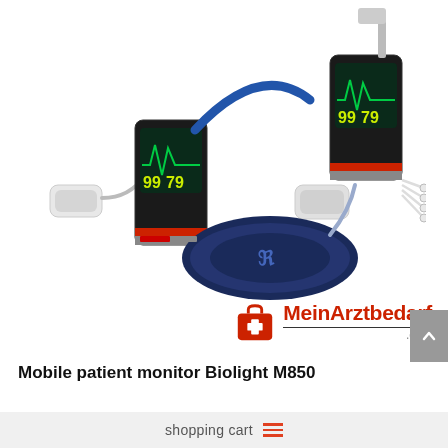[Figure (photo): Mobile patient monitors Biolight M850 with accessories: two handheld monitors showing green display readings (99, 79), SpO2 finger clip sensors, a blood pressure cuff, and ECG lead wires, arranged on white background]
[Figure (logo): MeinArztbedarf.com logo with red medical bag icon and bold red and black text]
Mobile patient monitor Biolight M850
★★★★★ (stars rating)
shopping cart ≡